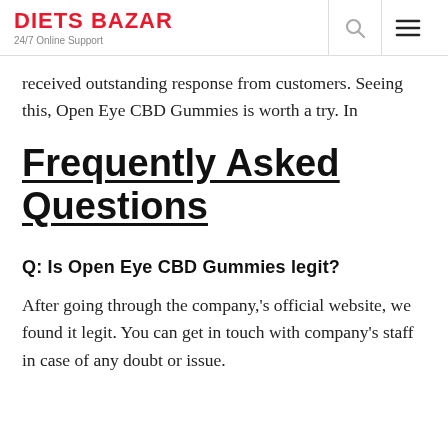DIETS BAZAR
24/7 Online Support
received outstanding response from customers. Seeing this, Open Eye CBD Gummies is worth a try. In
Frequently Asked Questions
Q: Is Open Eye CBD Gummies legit?
After going through the company,'s official website, we found it legit. You can get in touch with company's staff in case of any doubt or issue.